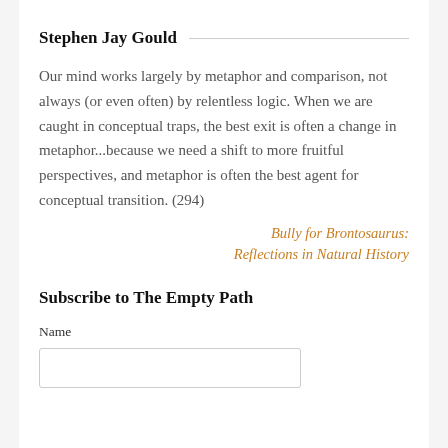Stephen Jay Gould
Our mind works largely by metaphor and comparison, not always (or even often) by relentless logic. When we are caught in conceptual traps, the best exit is often a change in metaphor...because we need a shift to more fruitful perspectives, and metaphor is often the best agent for conceptual transition. (294)
Bully for Brontosaurus: Reflections in Natural History
Subscribe to The Empty Path
Name